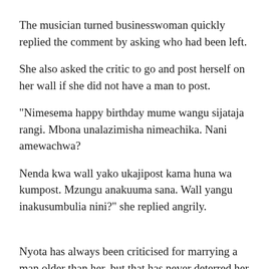The musician turned businesswoman quickly replied the comment by asking who had been left.
She also asked the critic to go and post herself on her wall if she did not have a man to post.
"Nimesema happy birthday mume wangu sijataja rangi. Mbona unalazimisha nimeachika. Nani amewachwa?
Nenda kwa wall yako ukajipost kama huna wa kumpost. Mzungu anakuuma sana. Wall yangu inakusumbulia nini?" she replied angrily.
Nyota has always been criticised for marrying a man older than her, but that has never deterred her from loving her man unconditionally.